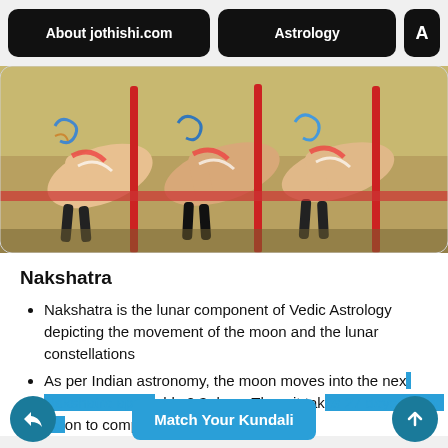About jothishi.com | Astrology | A
[Figure (photo): Carousel horses photograph showing colorful merry-go-round horses from below, with red poles and decorative details]
Nakshatra
Nakshatra is the lunar component of Vedic Astrology depicting the movement of the moon and the lunar constellations
As per Indian astronomy, the moon moves into the next [Nakshatra] roughly 2.3 days. Thus, it take[s 27 days for the m]oon to complete one full